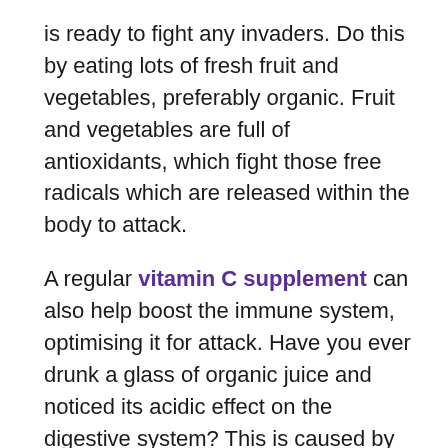is ready to fight any invaders. Do this by eating lots of fresh fruit and vegetables, preferably organic. Fruit and vegetables are full of antioxidants, which fight those free radicals which are released within the body to attack.
A regular vitamin C supplement can also help boost the immune system, optimising it for attack. Have you ever drunk a glass of organic juice and noticed its acidic effect on the digestive system? This is caused by the ascorbic acid. The vitamin C supplement I use contains Calcium Ascorbate instead, which is slow release, non-acidic form of vitamin C.
Stress will also damage our immune system, prioritising our adrenalin and sympathetic nervous system, and thus neglecting those systems that are not needed for immediate survival such as immune and digestion. A regular session of reflexology can help